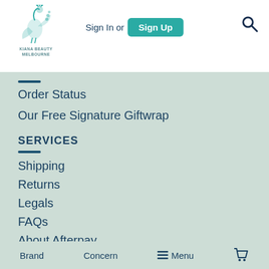[Figure (logo): Kiana Beauty Melbourne logo — teal illustrated bird/peacock above text KIANA BEAUTY MELBOURNE]
Sign In or Sign Up
Order Status
Our Free Signature Giftwrap
SERVICES
Shipping
Returns
Legals
FAQs
About Afterpay
Filter Options  1  2  ›
Brand    Concern    ≡ Menu    🛒